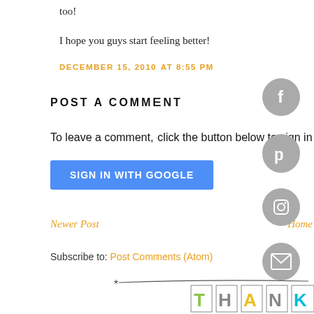too!
I hope you guys start feeling better!
DECEMBER 15, 2010 AT 8:55 PM
POST A COMMENT
To leave a comment, click the button below to sign in with
SIGN IN WITH GOOGLE
Newer Post
Home
Subscribe to: Post Comments (Atom)
[Figure (illustration): Decorative bunting banner with letters T, H, A, N, K on individual pennant flags hanging from a curved string]